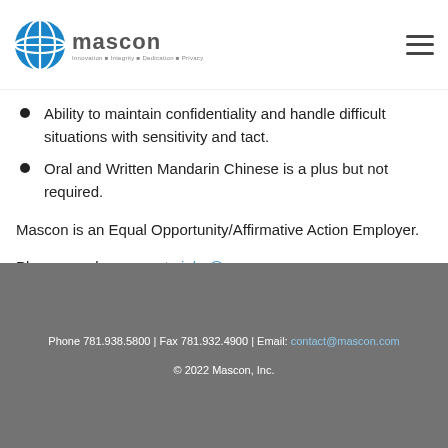Mascon logo and navigation
Ability to maintain confidentiality and handle difficult situations with sensitivity and tact.
Oral and Written Mandarin Chinese is a plus but not required.
Mascon is an Equal Opportunity/Affirmative Action Employer.
Please send resumes to jobs@mascon.com
Phone 781.938.5800 | Fax 781.932.4900 | Email: contact@mascon.com © 2022 Mascon, Inc.